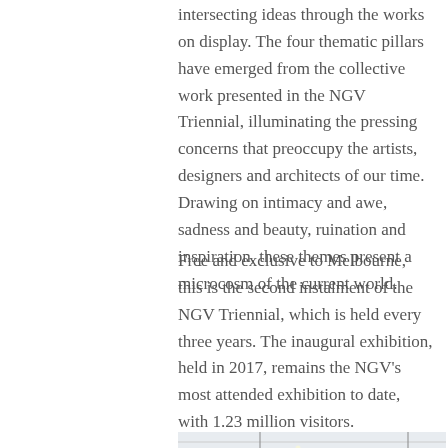intersecting ideas through the works on display. The four thematic pillars have emerged from the collective work presented in the NGV Triennial, illuminating the pressing concerns that preoccupy the artists, designers and architects of our time. Drawing on intimacy and awe, sadness and beauty, ruination and inspiration, these themes present a microcosm of the current world.
Free and exclusive to Melbourne, this is the second instalment of the NGV Triennial, which is held every three years. The inaugural exhibition, held in 2017, remains the NGV's most attended exhibition to date, with 1.23 million visitors.
[Figure (photo): Interior gallery photo showing hanging sculptural objects including a cylindrical green and yellow striped piece with circular openings, a round white pod-like sculpture with holes, and a spiky orange object, suspended from a white grid ceiling in a light blue-walled gallery space.]